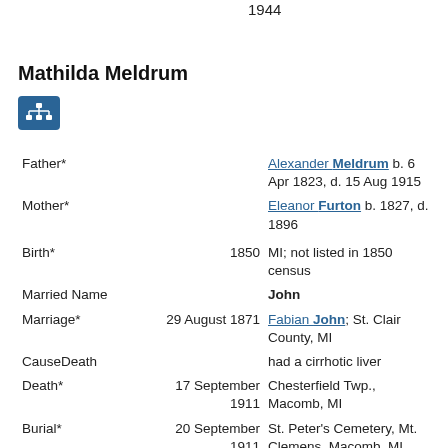1944
Mathilda Meldrum
[Figure (other): Blue icon button with tree/hierarchy symbol]
| Field | Date | Detail |
| --- | --- | --- |
| Father* |  | Alexander Meldrum b. 6 Apr 1823, d. 15 Aug 1915 |
| Mother* |  | Eleanor Furton b. 1827, d. 1896 |
| Birth* | 1850 | MI; not listed in 1850 census |
| Married Name |  | John |
| Marriage* | 29 August 1871 | Fabian John; St. Clair County, MI |
| CauseDeath |  | had a cirrhotic liver |
| Death* | 17 September 1911 | Chesterfield Twp., Macomb, MI |
| Burial* | 20 September 1911 | St. Peter's Cemetery, Mt. Clemens, Macomb, MI |